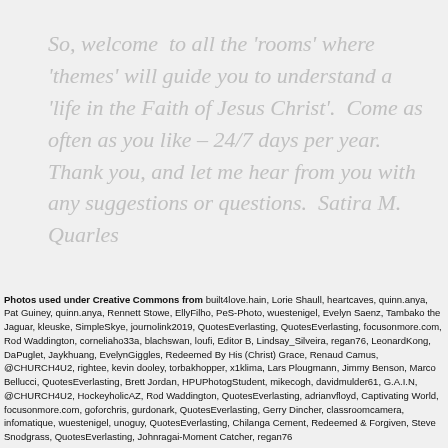So, welcome  to all the 'rooms' where 'themes' will guide you to understand a 'life in the Faith of Jesus Christ'.  Come as often as you like – 24/7 days per year. Thank you, and let me hear from you with any suggestions or questions.  Satira M. Quarles
Photos used under Creative Commons from built4love.hain, Lorie Shaull, heartcaves, quinn.anya, Pat Guiney, quinn.anya, Rennett Stowe, EllyFilho, PeS-Photo, wuestenigel, Evelyn Saenz, Tambako the Jaguar, kleuske, SimpleSkye, journolink2019, QuotesEverlasting, QuotesEverlasting, focusonmore.com, Rod Waddington, corneliaho33a, blachswan, loufi, Editor B, Lindsay_Silveira, regan76, LeonardKong, DaPuglet, Jaykhuang, EvelynGiggles, Redeemed By His (Christ) Grace, Renaud Camus, @CHURCH4U2, rightee, kevin dooley, torbakhopper, x1klima, Lars Plougmann, Jimmy Benson, Marco Bellucci, QuotesEverlasting, Brett Jordan, HPUPhotogStudent, mikecogh, davidmulder61, G.A.I.N, @CHURCH4U2, HockeyholicAZ, Rod Waddington, QuotesEverlasting, adrianvfloyd, Captivating World, focusonmore.com, goforchris, gurdonark, QuotesEverlasting, Gerry Dincher, classroomcamera, infomatique, wuestenigel, unoguy, QuotesEverlasting, Chilanga Cement, Redeemed & Forgiven, Steve Snodgrass, QuotesEverlasting, Johnragai-Moment Catcher, regan76